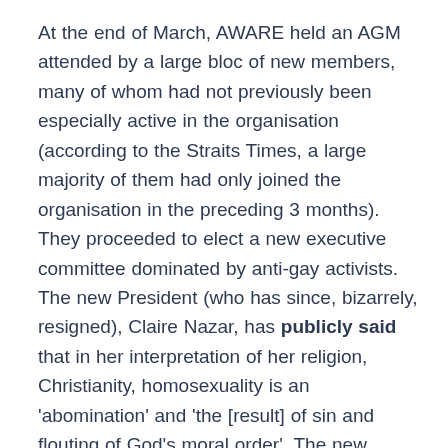At the end of March, AWARE held an AGM attended by a large bloc of new members, many of whom had not previously been especially active in the organisation (according to the Straits Times, a large majority of them had only joined the organisation in the preceding 3 months). They proceeded to elect a new executive committee dominated by anti-gay activists. The new President (who has since, bizarrely, resigned), Claire Nazar, has publicly said that in her interpretation of her religion, Christianity, homosexuality is an 'abomination' and 'the [result] of sin and flouting of God's moral order'. The new honorary secretary, Jenica Chua, has previously criticised NMP Siew Kum Hong for his support for the legalisation of gay sex by referring